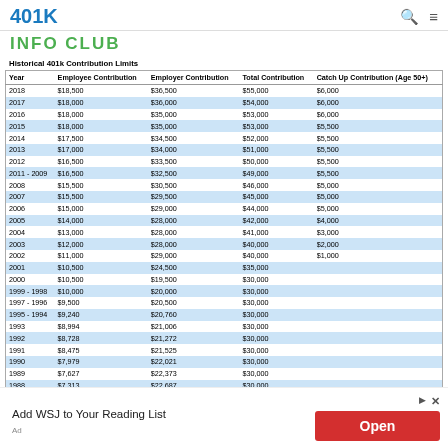401K
INFO CLUB
| Year | Employee Contribution | Employer Contribution | Total Contribution | Catch Up Contribution (Age 50+) |
| --- | --- | --- | --- | --- |
| 2018 | $18,500 | $36,500 | $55,000 | $6,000 |
| 2017 | $18,000 | $36,000 | $54,000 | $6,000 |
| 2016 | $18,000 | $35,000 | $53,000 | $6,000 |
| 2015 | $18,000 | $35,000 | $53,000 | $5,500 |
| 2014 | $17,500 | $34,500 | $52,000 | $5,500 |
| 2013 | $17,000 | $34,000 | $51,000 | $5,500 |
| 2012 | $16,500 | $33,500 | $50,000 | $5,500 |
| 2011 - 2009 | $16,500 | $32,500 | $49,000 | $5,500 |
| 2008 | $15,500 | $30,500 | $46,000 | $5,000 |
| 2007 | $15,500 | $29,500 | $45,000 | $5,000 |
| 2006 | $15,000 | $29,000 | $44,000 | $5,000 |
| 2005 | $14,000 | $28,000 | $42,000 | $4,000 |
| 2004 | $13,000 | $28,000 | $41,000 | $3,000 |
| 2003 | $12,000 | $28,000 | $40,000 | $2,000 |
| 2002 | $11,000 | $29,000 | $40,000 | $1,000 |
| 2001 | $10,500 | $24,500 | $35,000 |  |
| 2000 | $10,500 | $19,500 | $30,000 |  |
| 1999 - 1998 | $10,000 | $20,000 | $30,000 |  |
| 1997 - 1996 | $9,500 | $20,500 | $30,000 |  |
| 1995 - 1994 | $9,240 | $20,760 | $30,000 |  |
| 1993 | $8,994 | $21,006 | $30,000 |  |
| 1992 | $8,728 | $21,272 | $30,000 |  |
| 1991 | $8,475 | $21,525 | $30,000 |  |
| 1990 | $7,979 | $22,021 | $30,000 |  |
| 1989 | $7,627 | $22,373 | $30,000 |  |
| 1988 | $7,313 | $22,687 | $30,000 |  |
| 1987 - 1986 | $7,000 | $23,000 | $30,000 |  |
| 1985 - 1982 | $30,000 | $30,000 | $60,000 |  |
Add WSJ to Your Reading List
Ad